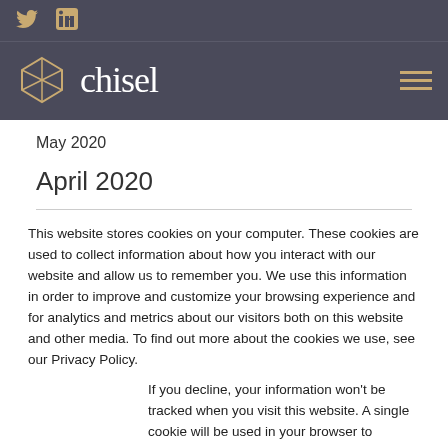Twitter and LinkedIn social icons
[Figure (logo): Chisel logo with diamond geometric icon and wordmark 'chisel' in white serif font on dark background, with hamburger menu icon]
May 2020
April 2020
This website stores cookies on your computer. These cookies are used to collect information about how you interact with our website and allow us to remember you. We use this information in order to improve and customize your browsing experience and for analytics and metrics about our visitors both on this website and other media. To find out more about the cookies we use, see our Privacy Policy.
If you decline, your information won't be tracked when you visit this website. A single cookie will be used in your browser to remember your preference not to be tracked.